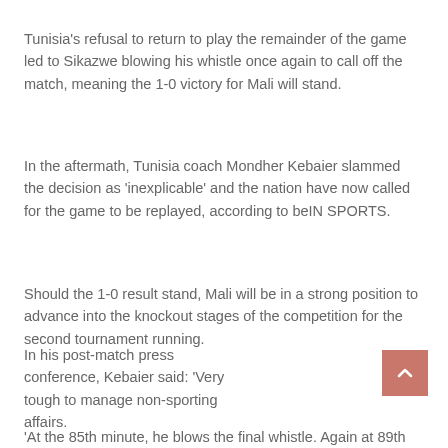Tunisia's refusal to return to play the remainder of the game led to Sikazwe blowing his whistle once again to call off the match, meaning the 1-0 victory for Mali will stand.
In the aftermath, Tunisia coach Mondher Kebaier slammed the decision as 'inexplicable' and the nation have now called for the game to be replayed, according to beIN SPORTS.
Should the 1-0 result stand, Mali will be in a strong position to advance into the knockout stages of the competition for the second tournament running.
In his post-match press conference, Kebaier said: 'Very tough to manage non-sporting affairs.
'At the 85th minute, he blows the final whistle. Again at 89th